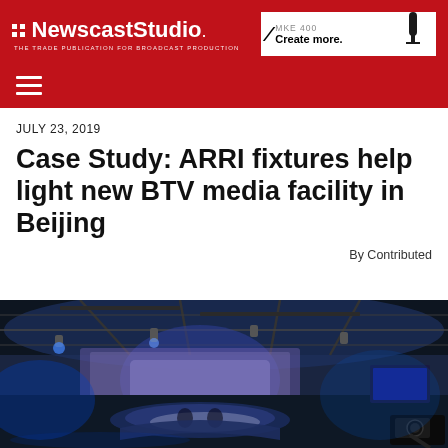NewscastStudio — THE TRADE PUBLICATION FOR BROADCAST PRODUCTION
[Figure (screenshot): Advertisement banner: Sennheiser MKE 400 microphone ad — 'MKE 400 Create more.' with microphone image]
JULY 23, 2019
Case Study: ARRI fixtures help light new BTV media facility in Beijing
By Contributed
[Figure (photo): Interior photo of large BTV broadcast studio in Beijing, showing lighting rigs, set pieces, multiple camera positions, blue-lit background and circular anchor desk area]